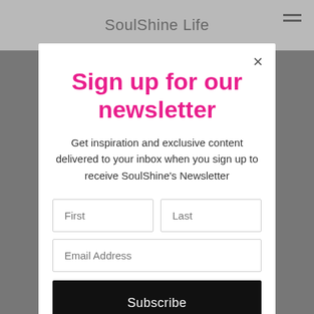SoulShine Life
Sign up for our newsletter
Get inspiration and exclusive content delivered to your inbox when you sign up to receive SoulShine's Newsletter
[Figure (screenshot): Newsletter signup modal with First, Last, Email Address fields and a Subscribe button]